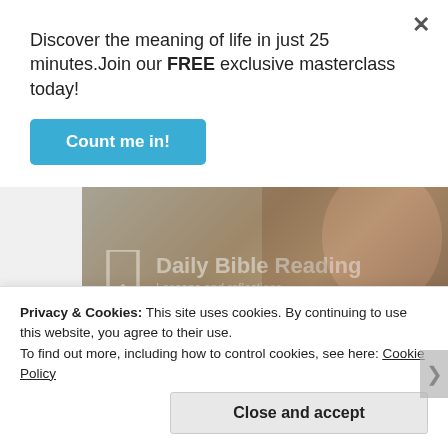Discover the meaning of life in just 25 minutes.Join our FREE exclusive masterclass today!
Count me in!
[Figure (screenshot): Daily Bible Reading banner image showing a person reading a Bible at a wooden table with a coffee cup. White bookmark icon and text 'Daily Bible Reading - Lessons and reflections' overlaid on the left side.]
Privacy & Cookies: This site uses cookies. By continuing to use this website, you agree to their use.
To find out more, including how to control cookies, see here: Cookie Policy
Close and accept